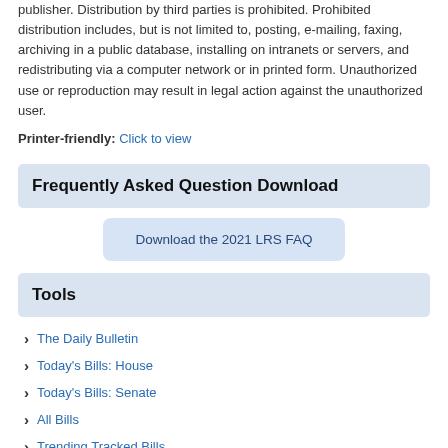publisher. Distribution by third parties is prohibited. Prohibited distribution includes, but is not limited to, posting, e-mailing, faxing, archiving in a public database, installing on intranets or servers, and redistributing via a computer network or in printed form. Unauthorized use or reproduction may result in legal action against the unauthorized user.
Printer-friendly: Click to view
Frequently Asked Question Download
Download the 2021 LRS FAQ
Tools
The Daily Bulletin
Today's Bills: House
Today's Bills: Senate
All Bills
Trending Tracked Bills